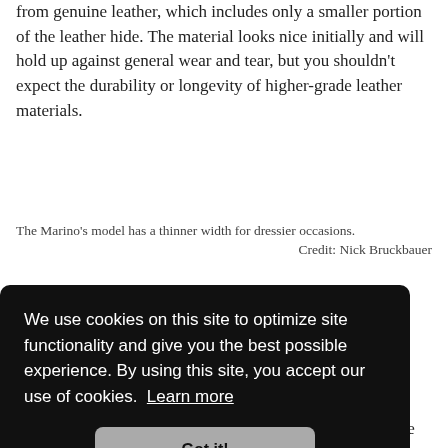from genuine leather, which includes only a smaller portion of the leather hide. The material looks nice initially and will hold up against general wear and tear, but you shouldn't expect the durability or longevity of higher-grade leather materials.
The Marino's model has a thinner width for dressier occasions.
Credit: Nick Bruckbauer
Why You Should Trust Us
We use cookies on this site to optimize site functionality and give you the best possible experience. By using this site, you accept our use of cookies.  Learn more
impact on the comfort or performance of a product, and he